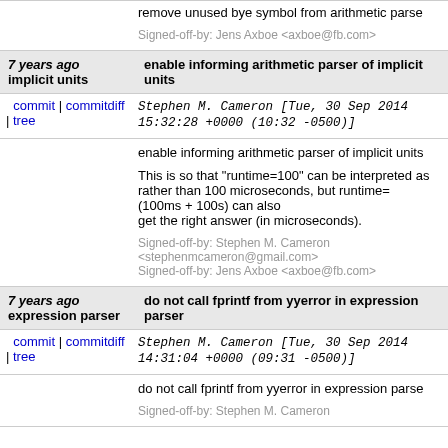remove unused bye symbol from arithmetic parser
Signed-off-by: Jens Axboe <axboe@fb.com>
7 years ago  enable informing arithmetic parser of implicit units
commit | commitdiff | tree  Stephen M. Cameron [Tue, 30 Sep 2014 15:32:28 +0000 (10:32 -0500)]
enable informing arithmetic parser of implicit units

This is so that "runtime=100" can be interpreted as rather than 100 microseconds, but runtime=(100ms + 100s) can also get the right answer (in microseconds).

Signed-off-by: Stephen M. Cameron <stephenmcameron@gmail.com>
Signed-off-by: Jens Axboe <axboe@fb.com>
7 years ago  do not call fprintf from yyerror in expression parser
commit | commitdiff | tree  Stephen M. Cameron [Tue, 30 Sep 2014 14:31:04 +0000 (09:31 -0500)]
do not call fprintf from yyerror in expression parser
Signed-off-by: Stephen M. Cameron